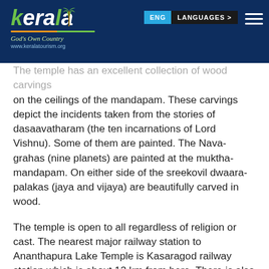[Figure (logo): Kerala Tourism logo with palm tree, tagline 'God's Own Country' and website www.keralatourism.org on dark blue header background]
The temple has an excellent collection of wood carvings on the ceilings of the mandapam. These carvings depict the incidents taken from the stories of dasaavatharam (the ten incarnations of Lord Vishnu). Some of them are painted. The Nava-grahas (nine planets) are painted at the muktha-mandapam. On either side of the sreekovil dwaara-palakas (jaya and vijaya) are beautifully carved in wood.
The temple is open to all regardless of religion or cast. The nearest major railway station to Ananthapura Lake Temple is Kasaragod railway station which is about 12 km from here. There is also a railway station at Kumbala. Karipur International Airport, Kozhikode is the nearest airport which is about 200 km from here. To reach there